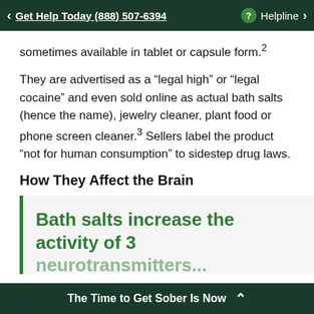Get Help Today (888) 507-6394  Helpline
sometimes available in tablet or capsule form.²
They are advertised as a "legal high" or "legal cocaine" and even sold online as actual bath salts (hence the name), jewelry cleaner, plant food or phone screen cleaner.³ Sellers label the product "not for human consumption" to sidestep drug laws.
How They Affect the Brain
[Figure (infographic): Green pull-quote box with left green border. Text reads: 'Bath salts increase the activity of 3' with more text cut off at bottom.]
The Time to Get Sober Is Now